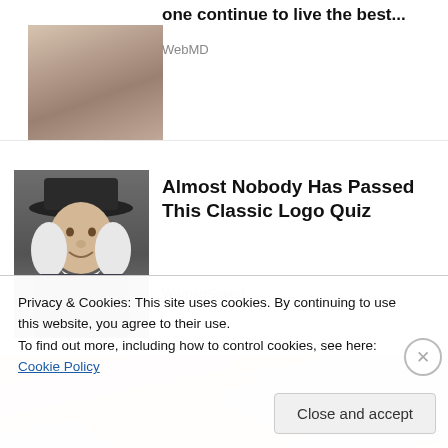[Figure (photo): Partially visible photo showing hands on what appears to be a surface, cropped at top]
one continue to live the best...
WebMD
[Figure (photo): Image of a historical figure resembling the Quaker Oats man - a man in a wide-brimmed hat with white wig and cravat]
Almost Nobody Has Passed This Classic Logo Quiz
WarpedSpeed
[Figure (photo): Blurred close-up photo of hands, pinkish tones, partially obscured by cookie consent banner]
Privacy & Cookies: This site uses cookies. By continuing to use this website, you agree to their use.
To find out more, including how to control cookies, see here: Cookie Policy
Close and accept